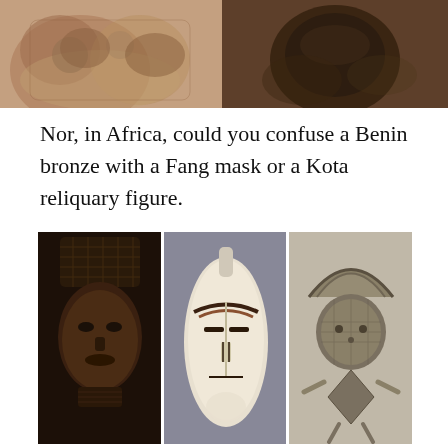[Figure (photo): Two photographs side by side at top: left shows carved stone/bronze relief figures in warm brown tones; right shows a dark rounded ceramic or bronze vessel on a brown background.]
Nor, in Africa, could you confuse a Benin bronze with a Fang mask or a Kota reliquary figure.
[Figure (photo): Three African art objects side by side: left is a dark bronze Benin head with latticed crown; center is a white Fang mask with dark linear markings; right is a Kota reliquary figure with crescent-shaped metal headdress.]
These differences are not merely stylistic, but grow from very different world views and historical experience. There is a world of difference between the Tlingit of the rainy Northwest Coast of North America and the Navajo of the desert Southwest.